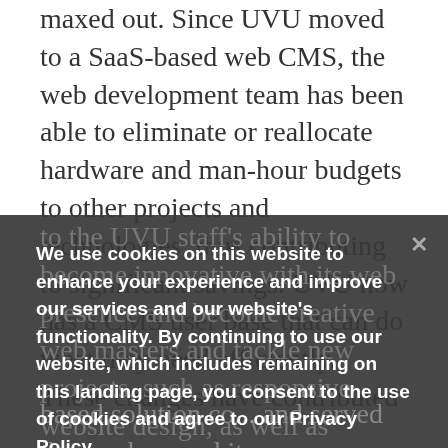maxed out. Since UVU moved to a SaaS-based web CMS, the web development team has been able to eliminate or reallocate hardware and man-hour budgets to other projects and technologies, thus contributing to significant savings. UVU now has a CMS user base that can do what they need efficiently. These changes have contributed to the UVU staff's ability to become innovative with its web presence and become creative web masters and tackle new projects, such as responsive website design, as well as mobile site development and management.
We use cookies on this website to enhance your experience and improve our services and our website's functionality. By continuing to use our website, which includes remaining on this landing page, you consent to the use of cookies and agree to our Privacy Policy.
Agree & Continue
based solution co... and served the needs of ... and its